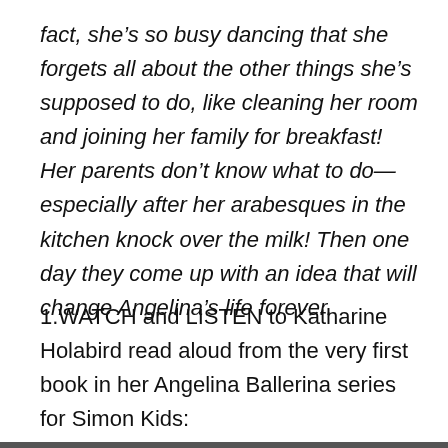fact, she's so busy dancing that she forgets all about the other things she's supposed to do, like cleaning her room and joining her family for breakfast! Her parents don't know what to do—especially after her arabesques in the kitchen knock over the milk! Then one day they come up with an idea that will change Angelina's life forever.
1.WATCH and LISTEN to Katharine Holabird read aloud from the very first book in her Angelina Ballerina series for Simon Kids: